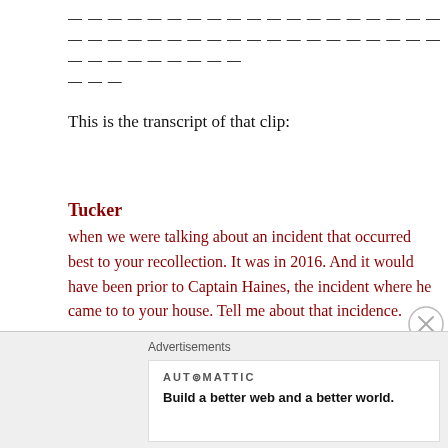— — — — — — — — — — — — — — — — — — — — — — — — — — — — — — — — — — — — — — — — — — — — — — — —
— — —
This is the transcript of that clip:
Tucker
when we were talking about an incident that occurred best to your recollection. It was in 2016. And it would have been prior to Captain Haines, the incident where he came to to your house. Tell me about that incidence.
SRSO employee
He had sent me a photo.
Advertisements
AUT⊙MATTIC
Build a better web and a better world.